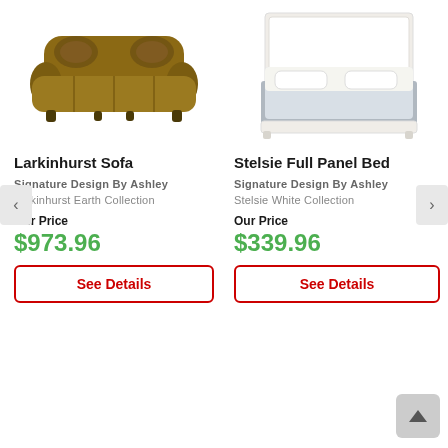[Figure (photo): Larkinhurst Sofa - brown fabric sofa with decorative pillows]
Larkinhurst Sofa
Signature Design By Ashley
Larkinhurst Earth Collection
Our Price
$973.96
See Details
[Figure (photo): Stelsie Full Panel Bed - white panel bed with gray bedding]
Stelsie Full Panel Bed
Signature Design By Ashley
Stelsie White Collection
Our Price
$339.96
See Details